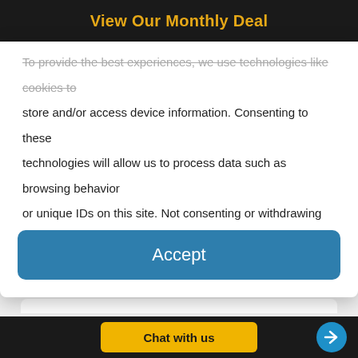View Our Monthly Deal
To provide the best experiences, we use technologies like cookies to store and/or access device information. Consenting to these technologies will allow us to process data such as browsing behavior or unique IDs on this site. Not consenting or withdrawing consent, may adversely affect certain features and functions.
Accept
sorry just yet! Evolution has been kind to this unique species, as they are now superb swimmers and underwater hunters.
[Figure (photo): Blue sky with faint cloud, partially visible]
Chat with us